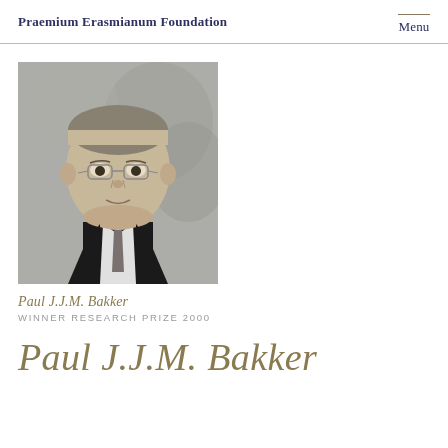Praemium Erasmianum Foundation    Menu
[Figure (photo): Black and white portrait photo of Paul J.J.M. Bakker, a man wearing glasses and a suit with tie, against a decorative background]
Paul J.J.M. Bakker
WINNER RESEARCH PRIZE 2000
Paul J.J.M. Bakker